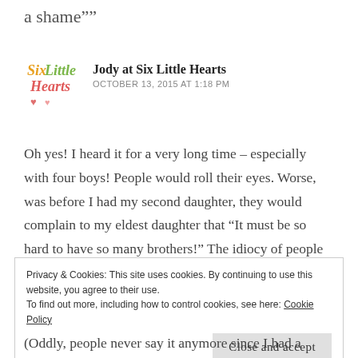a shame””
[Figure (logo): Six Little Hearts blog logo with colorful text and small hearts]
Jody at Six Little Hearts
OCTOBER 13, 2015 AT 1:18 PM
Oh yes! I heard it for a very long time – especially with four boys! People would roll their eyes. Worse, was before I had my second daughter, they would complain to my eldest daughter that “It must be so hard to have so many brothers!” The idiocy of people can be so incredible and heartless – thoughtless. There’s nothing wrong with having all the same-
Privacy & Cookies: This site uses cookies. By continuing to use this website, you agree to their use.
To find out more, including how to control cookies, see here: Cookie Policy
Close and accept
(Oddly, people never say it anymore since I had a